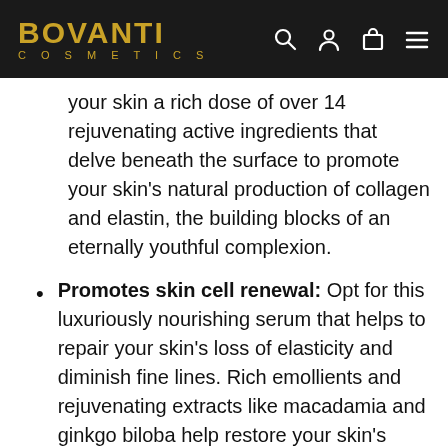BOVANTI COSMETICS
your skin a rich dose of over 14 rejuvenating active ingredients that delve beneath the surface to promote your skin's natural production of collagen and elastin, the building blocks of an eternally youthful complexion.
Promotes skin cell renewal: Opt for this luxuriously nourishing serum that helps to repair your skin's loss of elasticity and diminish fine lines. Rich emollients and rejuvenating extracts like macadamia and ginkgo biloba help restore your skin's softness and promote healthy cellular renewal